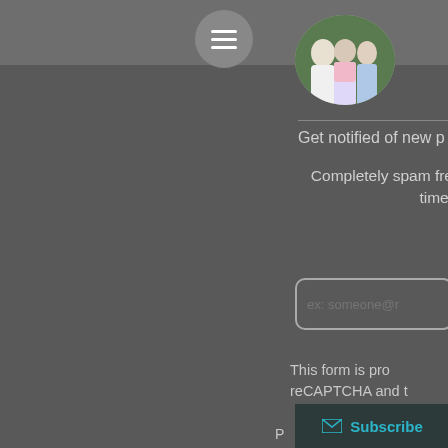[Figure (screenshot): Website sidebar screenshot showing hamburger menu button, circular profile photo (group of people outdoors), email subscription form with 'Get notified of new p[osts]' heading, spam-free notice, email input field, reCAPTCHA protection notice, and Subscribe button. Background is dark gray.]
Get notified of new p[osts]
Completely spam fre[e,] [unsubscribe at any] time.
ex: someone@r[example.com]
This form is pro[tected by] reCAPTCHA and t[he Google]
P[rivacy Policy and Terms apply]
Subscribe